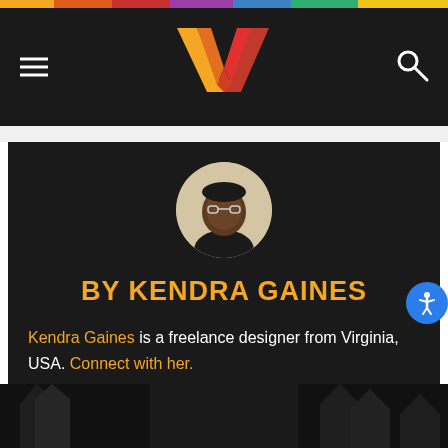[Figure (logo): Colorful W logo (orange-red gradient double V shape) on dark background navigation header with hamburger menu and search icon]
BY KENDRA GAINES
Kendra Gaines is a freelance designer from Virginia, USA. Connect with her.
[Figure (photo): Partial dark bottom image strip showing silhouettes]